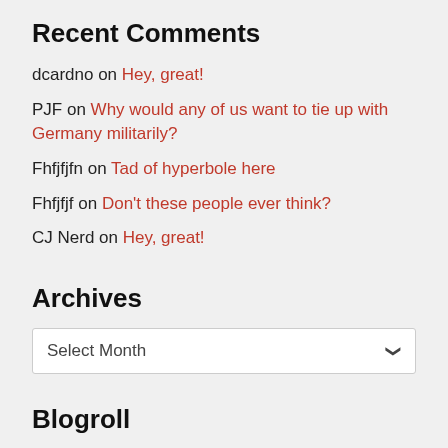Recent Comments
dcardno on Hey, great!
PJF on Why would any of us want to tie up with Germany militarily?
Fhfjfjfn on Tad of hyperbole here
Fhfjfjf on Don't these people ever think?
CJ Nerd on Hey, great!
Archives
Select Month
Blogroll
Anna Raccoon
AW Bridal Brand